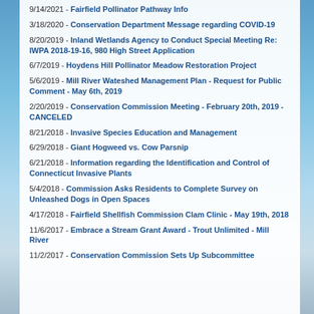9/14/2021 - Fairfield Pollinator Pathway Info
3/18/2020 - Conservation Department Message regarding COVID-19
8/20/2019 - Inland Wetlands Agency to Conduct Special Meeting Re: IWPA 2018-19-16, 980 High Street Application
6/7/2019 - Hoydens Hill Pollinator Meadow Restoration Project
5/6/2019 - Mill River Wateshed Management Plan - Request for Public Comment - May 6th, 2019
2/20/2019 - Conservation Commission Meeting - February 20th, 2019 - CANCELED
8/21/2018 - Invasive Species Education and Management
6/29/2018 - Giant Hogweed vs. Cow Parsnip
6/21/2018 - Information regarding the Identification and Control of Connecticut Invasive Plants
5/4/2018 - Commission Asks Residents to Complete Survey on Unleashed Dogs in Open Spaces
4/17/2018 - Fairfield Shellfish Commission Clam Clinic - May 19th, 2018
11/6/2017 - Embrace a Stream Grant Award - Trout Unlimited - Mill River
11/2/2017 - Conservation Commission Sets Up Subcommittee